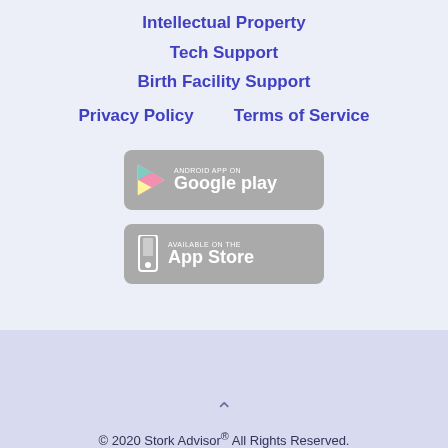Intellectual Property
Tech Support
Birth Facility Support
Privacy Policy   Terms of Service
[Figure (other): Google Play store badge button (gray/inactive)]
[Figure (other): Apple App Store badge button (gray/inactive)]
© 2020 Stork Advisor® All Rights Reserved.